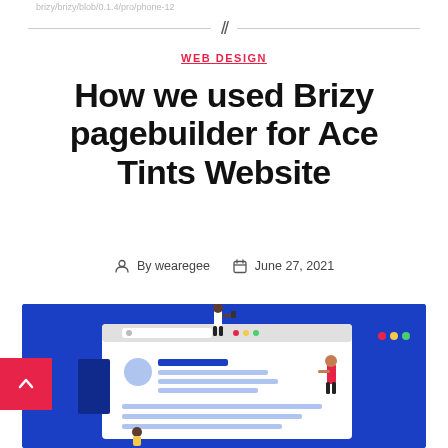brizy/brizy/blob/0.1.4/pro/phone-12
WEB DESIGN
How we used Brizy pagebuilder for Ace Tints Website
By wearegee  June 27, 2021
[Figure (illustration): Hero illustration on a blue background showing people interacting with a large website UI mockup on a screen, with a pink scroll-to-top button overlaid on the left edge.]